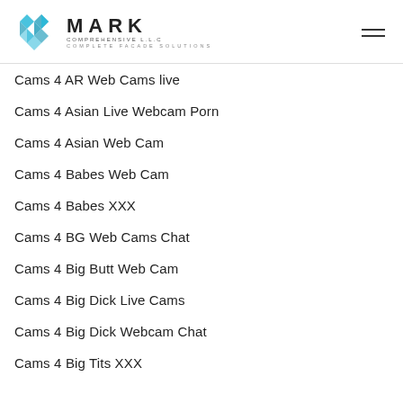MARK COMPREHENSIVE L.L.C COMPLETE FACADE SOLUTIONS
Cams 4 AR Web Cams live
Cams 4 Asian Live Webcam Porn
Cams 4 Asian Web Cam
Cams 4 Babes Web Cam
Cams 4 Babes XXX
Cams 4 BG Web Cams Chat
Cams 4 Big Butt Web Cam
Cams 4 Big Dick Live Cams
Cams 4 Big Dick Webcam Chat
Cams 4 Big Tits XXX